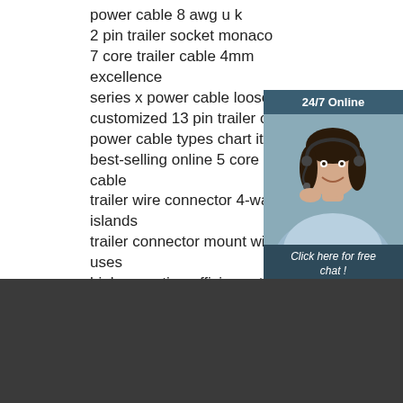power cable 8 awg u k
2 pin trailer socket monaco
7 core trailer cable 4mm excellence
series x power cable loose greece
customized 13 pin trailer cable
power cable types chart italy
best-selling online 5 core trai cable
trailer wire connector 4-way f islands
trailer connector mount wide uses
high operating efficiency trailer connector 4 pin 7 pin
[Figure (other): 24/7 online chat widget with a customer service representative photo, 'Click here for free chat!' text, and orange QUOTATION button]
[Figure (logo): Yuanking Auto Parts logo with stylized car silhouette in black and red arc]
Contact: